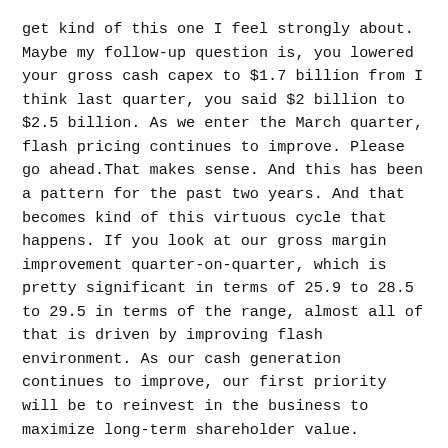get kind of this one I feel strongly about. Maybe my follow-up question is, you lowered your gross cash capex to $1.7 billion from I think last quarter, you said $2 billion to $2.5 billion. As we enter the March quarter, flash pricing continues to improve. Please go ahead.That makes sense. And this has been a pattern for the past two years. And that becomes kind of this virtuous cycle that happens. If you look at our gross margin improvement quarter-on-quarter, which is pretty significant in terms of 25.9 to 28.5 to 29.5 in terms of the range, almost all of that is driven by improving flash environment. As our cash generation continues to improve, our first priority will be to reinvest in the business to maximize long-term shareholder value.
I think I'll get back in queue, thanks.Why don't you take the inventory question?Yes. So I think it will take a little bit of time to work through that, but I think we're going to be a good place.Flash, gross margins are clearly not where we want them to be, but we see a path for that...